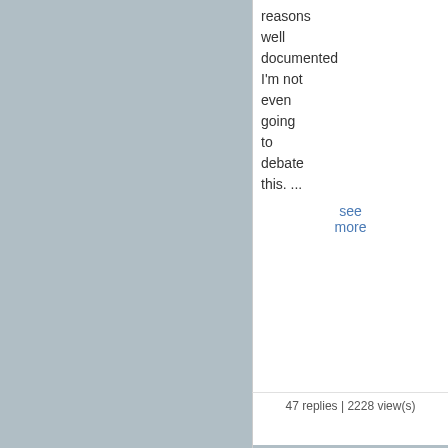reasons well documented I'm not even going to debate this. ...
see more
47 replies | 2228 view(s)
[Figure (photo): Avatar photo of Chris 16409 standing next to a car at night with purple lighting]
08-15-2022, 06:35 PM
Chris 16409 replied to a thread [Engine] Air cleaner in General DeLorean Discussi...